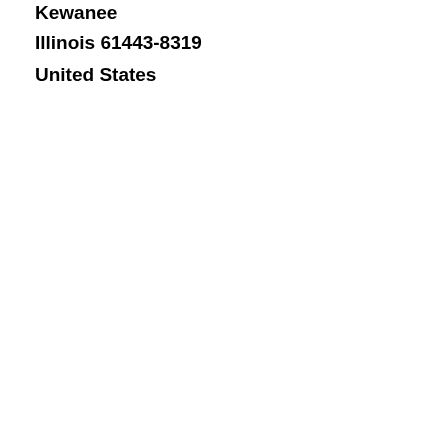Kewanee
Illinois 61443-8319
United States